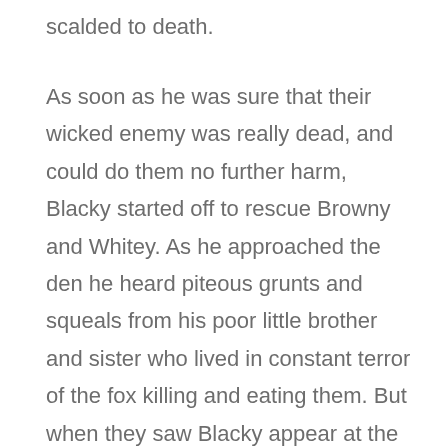scalded to death.
As soon as he was sure that their wicked enemy was really dead, and could do them no further harm, Blacky started off to rescue Browny and Whitey. As he approached the den he heard piteous grunts and squeals from his poor little brother and sister who lived in constant terror of the fox killing and eating them. But when they saw Blacky appear at the entrance to the den their joy knew no bounds. He quickly found a sharp stone and cut the cords by which they were tied to a stake in the ground, and then all three started off together for Blacky's house, where they lived happily ever after; and Browny